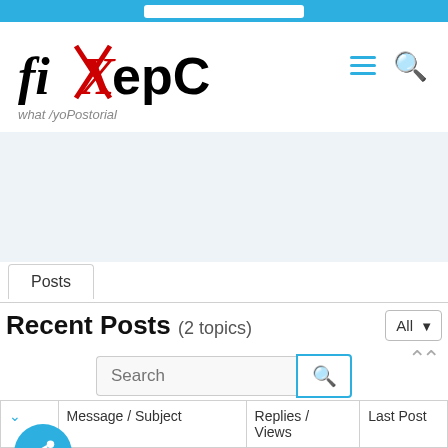fiXepC website header with logo, hamburger menu, and search icon
[Figure (logo): fiXepC logo with red X and italic fi letters]
Posts
Recent Posts (2 topics)
| (arrow) | Message / Subject | Replies / Views | Last Post |
| --- | --- | --- | --- |
| [share icon] | [...dness from ...clusa ...] | Replies: 0
Views: 771 | Last Post by Hannabelle ... |